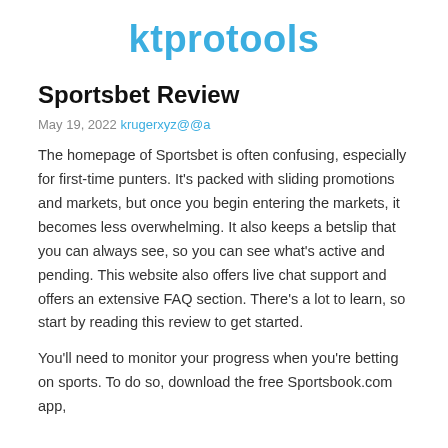ktprotools
Sportsbet Review
May 19, 2022 krugerxyz@@a
The homepage of Sportsbet is often confusing, especially for first-time punters. It’s packed with sliding promotions and markets, but once you begin entering the markets, it becomes less overwhelming. It also keeps a betslip that you can always see, so you can see what’s active and pending. This website also offers live chat support and offers an extensive FAQ section. There’s a lot to learn, so start by reading this review to get started.
You’ll need to monitor your progress when you’re betting on sports. To do so, download the free Sportsbook.com app, which is also available at most online shops.